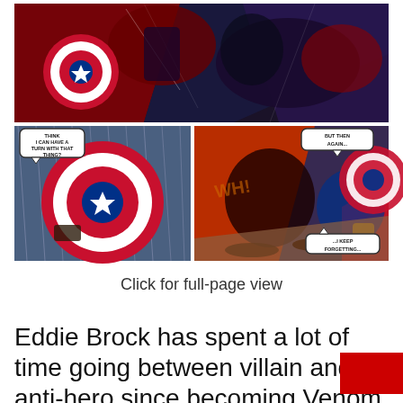[Figure (illustration): Comic book panels showing action scenes with Captain America's shield and characters including Venom/Eddie Brock. Top panel: large action scene with characters fighting. Bottom left panel: close-up of Captain America's red/white/blue shield with speech bubble reading 'THINK I CAN HAVE A TURN WITH THAT THING?'. Bottom right panel: action scene with speech bubbles reading 'BUT THEN AGAIN...' and '...I KEEP FORGETTING...']
Click for full-page view
Eddie Brock has spent a lot of time going between villain and anti-hero since becoming Venom. Capt